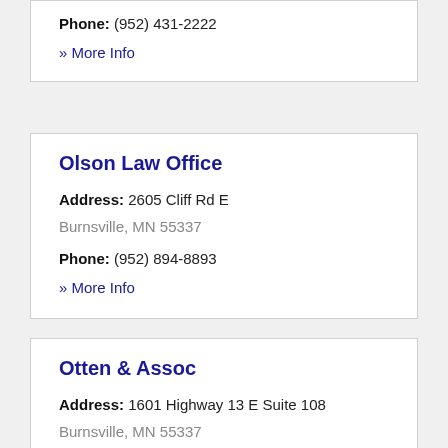Phone: (952) 431-2222
» More Info
Olson Law Office
Address: 2605 Cliff Rd E
Burnsville, MN 55337
Phone: (952) 894-8893
» More Info
Otten & Assoc
Address: 1601 Highway 13 E Suite 108
Burnsville, MN 55337
Phone: (952) 736-3300